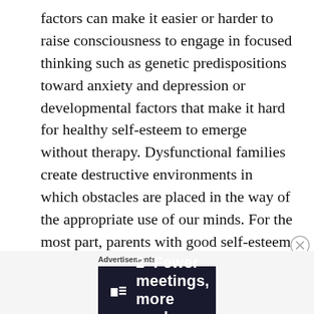factors can make it easier or harder to raise consciousness to engage in focused thinking such as genetic predispositions toward anxiety and depression or developmental factors that make it hard for healthy self-esteem to emerge without therapy. Dysfunctional families create destructive environments in which obstacles are placed in the way of the appropriate use of our minds. For the most part, parents with good self-esteem have children who also do. Nevertheless,'Invulnerables' seem to be able to extract nourishment from a harsh environment to develop a powerful sense of value and
Advertisements
[Figure (other): Advertisement banner: dark navy background with a small square icon and bold white text reading '2 Fewer meetings, more work.']